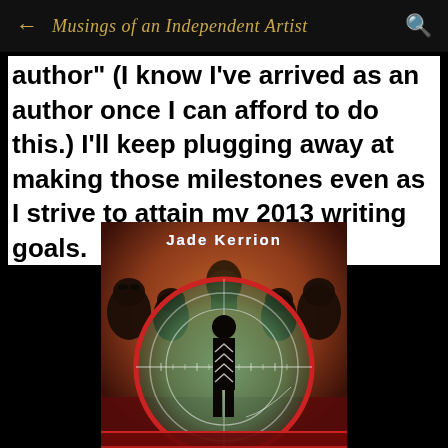Musings of an Independent Artist
author" (I know I've arrived as an author once I can afford to do this.) I'll keep plugging away at making those milestones even as I strive to attain my 2013 writing goals.
[Figure (illustration): Book cover for Jade Kerrion showing a silhouette of a person centered in a sniper scope crosshair, with dark monster-like figures and a domed building in the background. The author name 'Jade Kerrion' is displayed in glowing blue text at the top.]